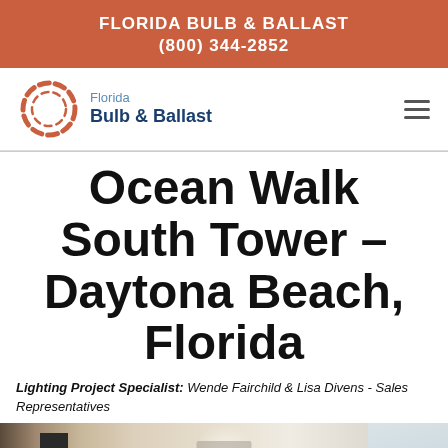FLORIDA BULB & BALLAST
(800) 344-2852
[Figure (logo): Florida Bulb & Ballast logo with circular dashed orange ring icon and company name text]
Ocean Walk South Tower – Daytona Beach, Florida
Lighting Project Specialist:  Wende Fairchild & Lisa Divens - Sales Representatives
[Figure (photo): Interior hallway of a building with white walls and ceiling, windows on the right, and a dark door on the left. An orange phone call button is visible in the lower left corner.]